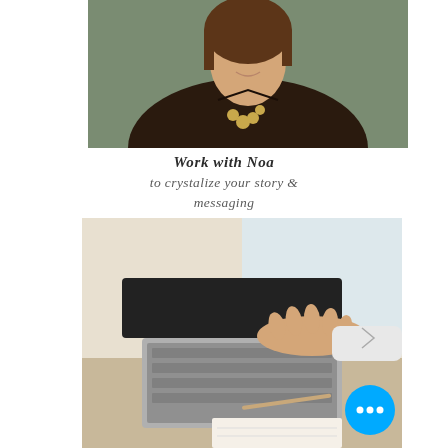[Figure (photo): Woman with short brown hair smiling, wearing dark brown blouse and gold coin necklace, with a circular plus button overlay in top right area]
Work with Noa
to crystalize your story &
messaging
[Figure (photo): Close-up of person's hands typing on a laptop computer on a desk, with a pen and notepad in the foreground, and a three-dot menu button in the bottom right corner]